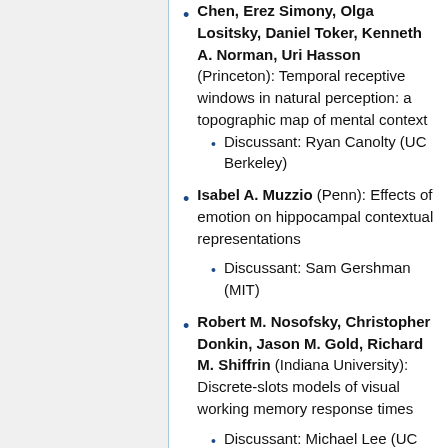Chen, Erez Simony, Olga Lositsky, Daniel Toker, Kenneth A. Norman, Uri Hasson (Princeton): Temporal receptive windows in natural perception: a topographic map of mental context
Discussant: Ryan Canolty (UC Berkeley)
Isabel A. Muzzio (Penn): Effects of emotion on hippocampal contextual representations
Discussant: Sam Gershman (MIT)
Robert M. Nosofsky, Christopher Donkin, Jason M. Gold, Richard M. Shiffrin (Indiana University): Discrete-slots models of visual working memory response times
Discussant: Michael Lee (UC Irvine)